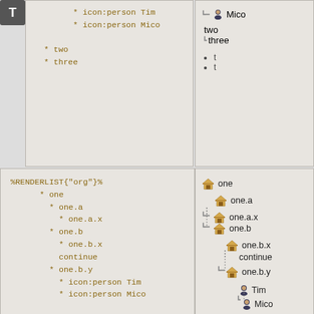* icon:person Tim
* icon:person Mico
* two
* three
Mico
two
three
%RENDERLIST{"org"}%
  * one
    * one.a
      * one.a.x
    * one.b
      * one.b.x
      continue
    * one.b.y
      * icon:person Tim
      * icon:person Mico
  * two
  * three
[Figure (other): Tree diagram with house icons showing: one > one.a > one.a.x, one.b > one.b.x, continue, one.b.y > Tim, Mico; two; three]
%RENDERLIST{ "org" focus="one.b" }%
  * one
[Figure (other): Tree diagram showing: one > one.b (bold)]